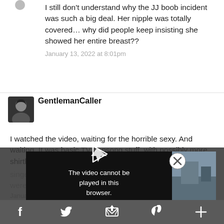I still don't understand why the JJ boob incident was such a big deal. Her nipple was totally covered... why did people keep insisting she showed her entire breast??
January 13, 2022 at 8:01pm
GentlemanCaller
I watched the video, waiting for the horrible sexy. And waiting. It was basic TV popsong stuff, with possibly more shirtless boys and gender-defying singers i... 179 Britons were w... c.
January ... y.
[Figure (screenshot): Video player error overlay showing play button arrow and text: The video cannot be played in this browser. (Error Code: 242632), with close X button]
moretr
[Figure (infographic): Bottom navigation bar with icons for Facebook, Twitter, email/share, Pinterest, and plus]